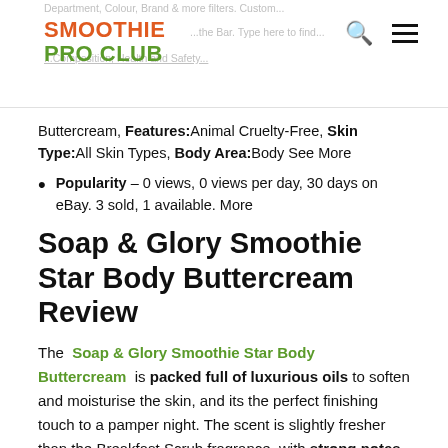SMOOTHIE PRO CLUB
Buttercream, Features:Animal Cruelty-Free, Skin Type:All Skin Types, Body Area:Body See More
Popularity – 0 views, 0 views per day, 30 days on eBay. 3 sold, 1 available. More
Soap & Glory Smoothie Star Body Buttercream Review
The Soap & Glory Smoothie Star Body Buttercream is packed full of luxurious oils to soften and moisturise the skin, and its the perfect finishing touch to a pamper night. The scent is slightly fresher than the Breakfast Scrub fragrance, with strong notes of vanilla and hints of pistachio and almonds